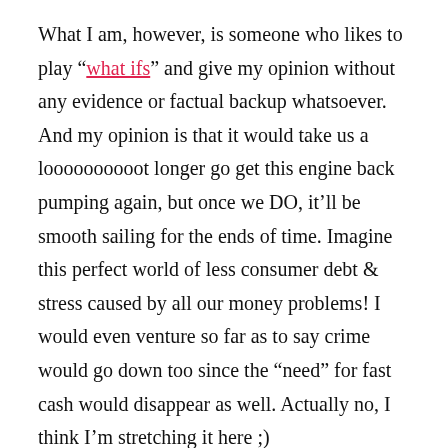What I am, however, is someone who likes to play “what ifs” and give my opinion without any evidence or factual backup whatsoever. And my opinion is that it would take us a loooooooooot longer go get this engine back pumping again, but once we DO, it’ll be smooth sailing for the ends of time. Imagine this perfect world of less consumer debt & stress caused by all our money problems! I would even venture so far as to say crime would go down too since the “need” for fast cash would disappear as well. Actually no, I think I’m stretching it here ;)
The point of all this is just that